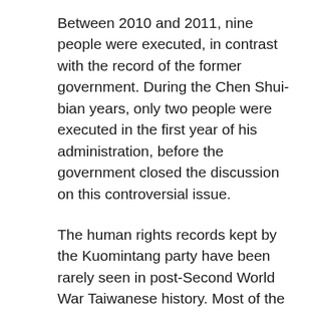Between 2010 and 2011, nine people were executed, in contrast with the record of the former government. During the Chen Shui-bian years, only two people were executed in the first year of his administration, before the government closed the discussion on this controversial issue.
The human rights records kept by the Kuomintang party have been rarely seen in post-Second World War Taiwanese history. Most of the records show inappropriate arrests and confinements of innocent individuals during the Martial Law period. The rise of the DPP was closely associated with its concerns for the weak and marginalized. Under the DPP rules, nevertheless, the government did not reach any significant achievements in the area of transitional justice apart from restoring the reputation of former political prisoners. The steadfast structure of